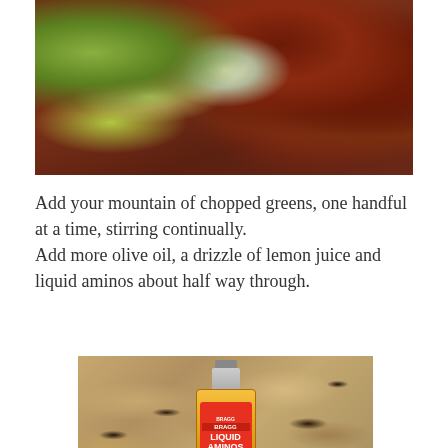[Figure (photo): Chopped greens (lettuce/leeks) and dried cranberries or dark fruit scattered on a wooden cutting board surface]
Add your mountain of chopped greens, one handful at a time, stirring continually.
Add more olive oil, a drizzle of lemon juice and liquid aminos about half way through.
[Figure (photo): A bottle of Bragg Liquid Aminos seasoning sitting on a granite countertop behind a dark cast iron skillet or pan]